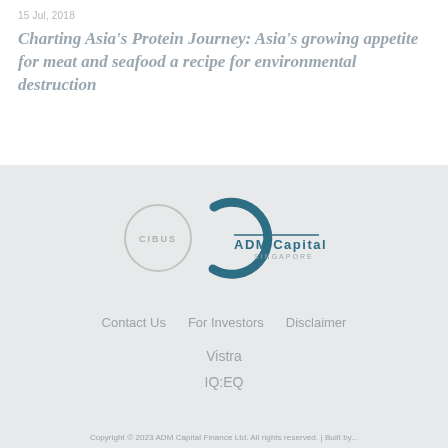15 Jul, 2018
Charting Asia's Protein Journey: Asia's growing appetite for meat and seafood a recipe for environmental destruction
[Figure (logo): Combined Cibus and ADM Capital Singapore logos — circular Cibus logo overlapping with a dark teal stylized C arc and ADM Capital Singapore wordmark]
Contact Us   For Investors   Disclaimer
Vistra
IQ:EQ
Copyright © 2023 ADM Capital Finance Ltd. All rights reserved. | Built by...